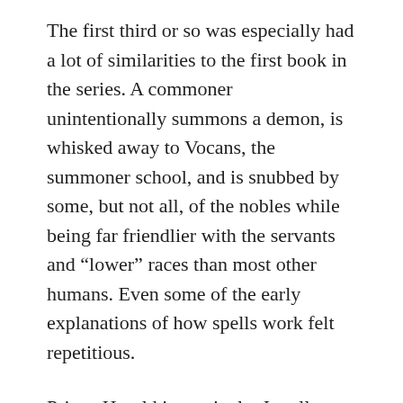The first third or so was especially had a lot of similarities to the first book in the series. A commoner unintentionally summons a demon, is whisked away to Vocans, the summoner school, and is snubbed by some, but not all, of the nobles while being far friendlier with the servants and “lower” races than most other humans. Even some of the early explanations of how spells work felt repetitious.
Prince Harold in particular I really liked in this book. And Captain Lovett as a teenager was quite the fun and rambunctious character too. However, while it was kinda neat to see characters in this book that were in the trilogy, or were parents of characters in the trilogy, when all of these characters who we know are alive years later are